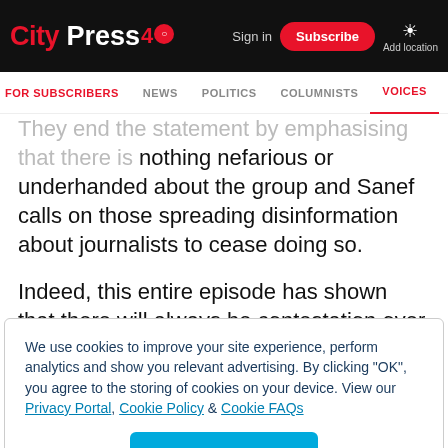City Press 40 | Sign in | Subscribe | Add location
FOR SUBSCRIBERS | NEWS | POLITICS | COLUMNISTS | VOICES
They end the statement by emphasising that there is nothing nefarious or underhanded about the group and Sanef calls on those spreading disinformation about journalists to cease doing so.
Indeed, this entire episode has shown that there will always be contestation over the work of government and how
We use cookies to improve your site experience, perform analytics and show you relevant advertising. By clicking "OK", you agree to the storing of cookies on your device. View our Privacy Portal, Cookie Policy & Cookie FAQs
OK